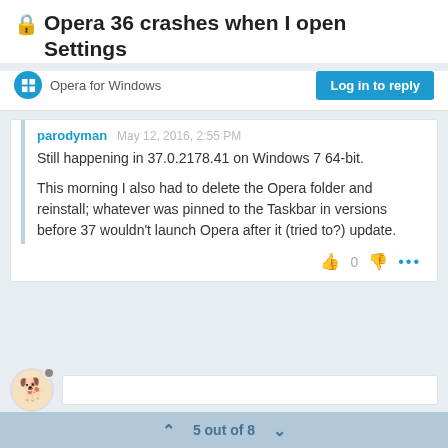🔒Opera 36 crashes when I open Settings
Opera for Windows | Log in to reply
parodyman   May 12, 2016, 2:55 PM
Still happening in 37.0.2178.41 on Windows 7 64-bit.

This morning I also had to delete the Opera folder and reinstall; whatever was pinned to the Taskbar in versions before 37 wouldn't launch Opera after it (tried to?) update.
5 out of 8